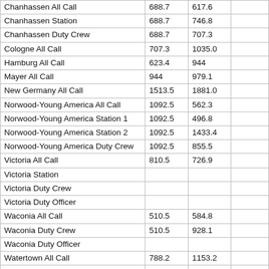|  |  |  |  |
| --- | --- | --- | --- |
| Chanhassen All Call | 688.7 | 617.6 |  |
| Chanhassen Station | 688.7 | 746.8 |  |
| Chanhassen Duty Crew | 688.7 | 707.3 |  |
| Cologne All Call | 707.3 | 1035.0 |  |
| Hamburg All Call | 623.4 | 944 |  |
| Mayer All Call | 944 | 979.1 |  |
| New Germany All Call | 1513.5 | 1881.0 |  |
| Norwood-Young America All Call | 1092.5 | 562.3 |  |
| Norwood-Young America Station 1 | 1092.5 | 496.8 |  |
| Norwood-Young America Station 2 | 1092.5 | 1433.4 |  |
| Norwood-Young America Duty Crew | 1092.5 | 855.5 |  |
| Victoria All Call | 810.5 | 726.9 |  |
| Victoria Station |  |  |  |
| Victoria Duty Crew |  |  |  |
| Victoria Duty Officer |  |  |  |
| Waconia All Call | 510.5 | 584.8 |  |
| Waconia Duty Crew | 510.5 | 928.1 |  |
| Waconia Duty Officer |  |  |  |
| Watertown All Call | 788.2 | 1153.2 |  |
| Watertown Station | 832.9 | 458.0 |  |
| Carver County All Call |  |  | 1217.6 |